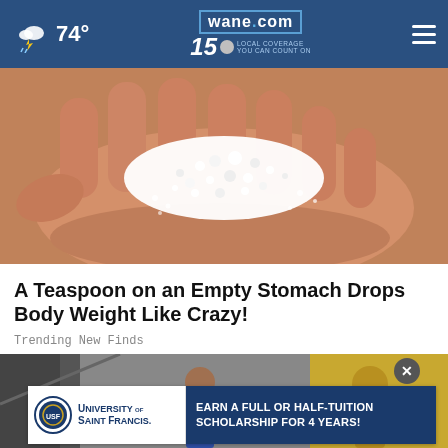wane.com 15 LOCAL COVERAGE YOU CAN COUNT ON — 74°
[Figure (photo): Close-up of a human hand holding white granular pellets or crystals, possibly salt or a supplement]
A Teaspoon on an Empty Stomach Drops Body Weight Like Crazy!
Trending New Finds
[Figure (photo): Partial view of a second article image with a person and golden decorations, overlaid with an advertisement for University of Saint Francis: EARN A FULL OR HALF-TUITION SCHOLARSHIP FOR 4 YEARS!]